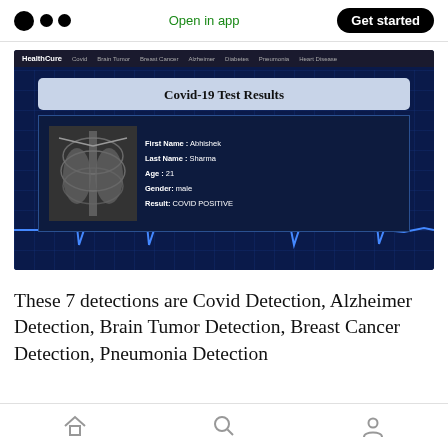Open in app  Get started
[Figure (screenshot): Screenshot of a HealthCure web application showing a Covid-19 Test Results panel with a chest X-ray image on the left and patient info on the right: First Name: Abhishek, Last Name: Sharma, Age: 21, Gender: male, Result: COVID POSITIVE. The background shows an ECG heartbeat line on a dark blue grid.]
These 7 detections are Covid Detection, Alzheimer Detection, Brain Tumor Detection, Breast Cancer Detection, Pneumonia Detection
Home  Search  Profile